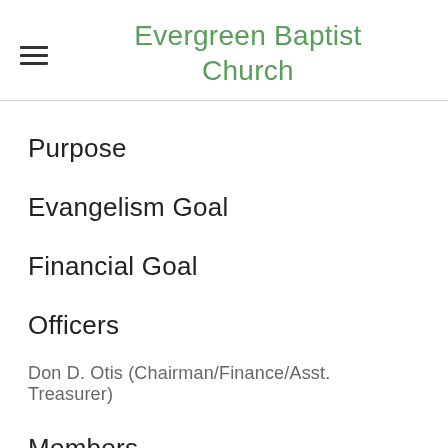Evergreen Baptist Church
Purpose
Evangelism Goal
Financial Goal
Officers
Don D. Otis (Chairman/Finance/Asst. Treasurer)
Members